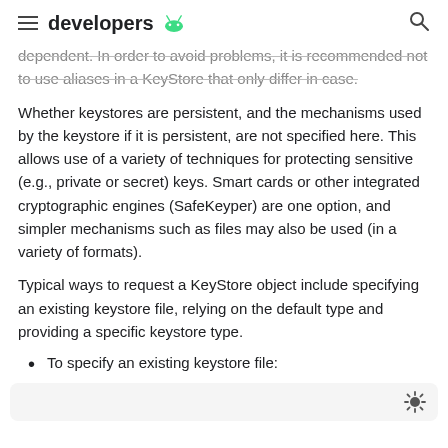developers [android logo]
dependent. In order to avoid problems, it is recommended not to use aliases in a KeyStore that only differ in case.
Whether keystores are persistent, and the mechanisms used by the keystore if it is persistent, are not specified here. This allows use of a variety of techniques for protecting sensitive (e.g., private or secret) keys. Smart cards or other integrated cryptographic engines (SafeKeyper) are one option, and simpler mechanisms such as files may also be used (in a variety of formats).
Typical ways to request a KeyStore object include specifying an existing keystore file, relying on the default type and providing a specific keystore type.
To specify an existing keystore file: